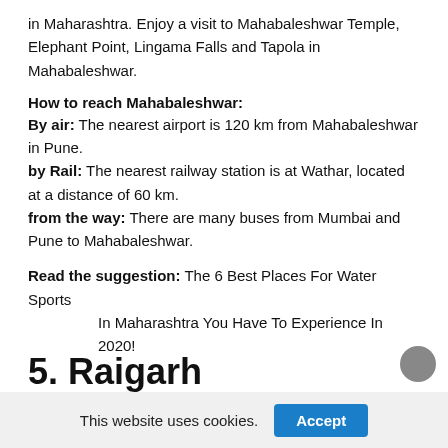in Maharashtra. Enjoy a visit to Mahabaleshwar Temple, Elephant Point, Lingama Falls and Tapola in Mahabaleshwar.
How to reach Mahabaleshwar:
By air: The nearest airport is 120 km from Mahabaleshwar in Pune.
by Rail: The nearest railway station is at Wathar, located at a distance of 60 km.
from the way: There are many buses from Mumbai and Pune to Mahabaleshwar.
Read the suggestion: The 6 Best Places For Water Sports In Maharashtra You Have To Experience In 2020!
5. Raigarh
This website uses cookies.